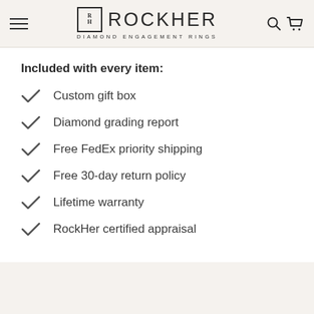RockHer Diamond Engagement Rings
Included with every item:
Custom gift box
Diamond grading report
Free FedEx priority shipping
Free 30-day return policy
Lifetime warranty
RockHer certified appraisal